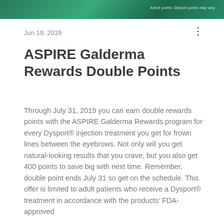[Figure (other): Green gradient header banner with small white text on right side]
Jun 19, 2019
ASPIRE Galderma Rewards Double Points
Through July 31, 2019 you can earn double rewards points with the ASPIRE Galderma Rewards program for every Dysport® injection treatment you get for frown lines between the eyebrows. Not only will you get natural-looking results that you crave, but you also get 400 points to save big with next time. Remember, double point ends July 31 so get on the schedule. This offer is limited to adult patients who receive a Dysport® treatment in accordance with the products' FDA-approved